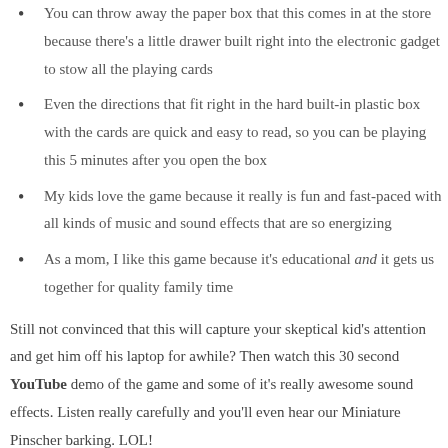You can throw away the paper box that this comes in at the store because there's a little drawer built right into the electronic gadget to stow all the playing cards
Even the directions that fit right in the hard built-in plastic box with the cards are quick and easy to read, so you can be playing this 5 minutes after you open the box
My kids love the game because it really is fun and fast-paced with all kinds of music and sound effects that are so energizing
As a mom, I like this game because it's educational and it gets us together for quality family time
Still not convinced that this will capture your skeptical kid's attention and get him off his laptop for awhile? Then watch this 30 second YouTube demo of the game and some of it's really awesome sound effects. Listen really carefully and you'll even hear our Miniature Pinscher barking. LOL!